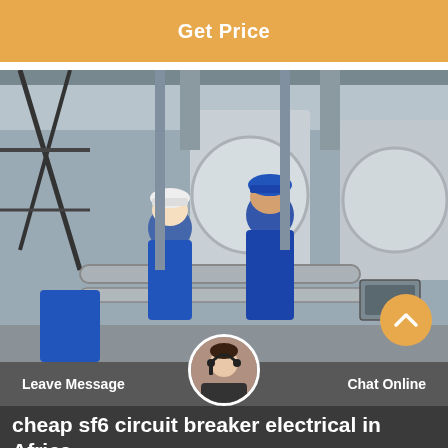Get Price
[Figure (photo): Two workers in blue coveralls and hard hats (one white, one blue) inspecting large industrial cylindrical pressure vessels/tanks in a facility, with scaffolding and pipes visible.]
Leave Message   Chat Online
cheap sf6 circuit breaker electrical in Africa